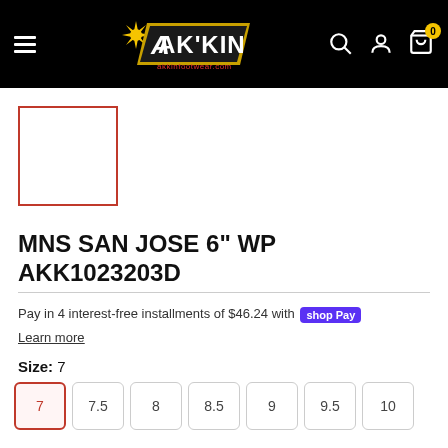AK'KIN akkinfootwear.com — navigation header with hamburger menu, logo, search, account, cart icons
[Figure (photo): Product thumbnail placeholder — empty white box with red border]
MNS SAN JOSE 6" WP AKK1023203D
Pay in 4 interest-free installments of $46.24 with Shop Pay
Learn more
Size: 7
Size options: 7 (selected), 7.5, 8, 8.5, 9, 9.5, 10